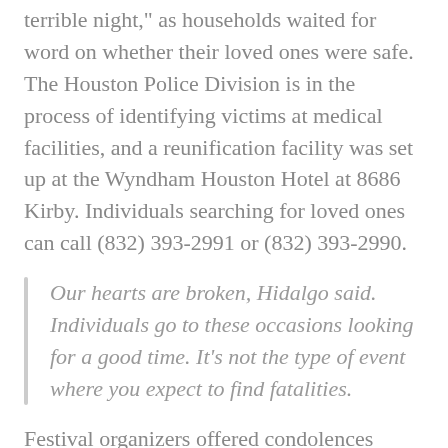terrible night, as households waited for word on whether their loved ones were safe. The Houston Police Division is in the process of identifying victims at medical facilities, and a reunification facility was set up at the Wyndham Houston Hotel at 8686 Kirby. Individuals searching for loved ones can call (832) 393-2991 or (832) 393-2990.
Our hearts are broken, Hidalgo said. Individuals go to these occasions looking for a good time. It's not the type of event where you expect to find fatalities.
Festival organizers offered condolences before 6 a.m. Saturday throughout their social media